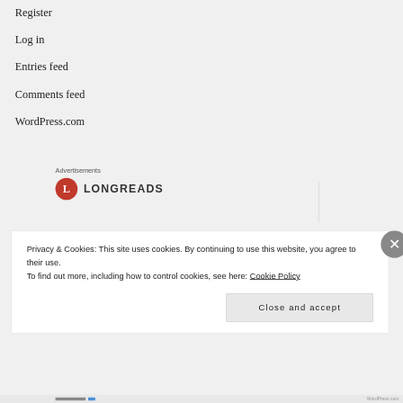Register
Log in
Entries feed
Comments feed
WordPress.com
Advertisements
[Figure (logo): LONGREADS logo with red circle containing letter L]
Privacy & Cookies: This site uses cookies. By continuing to use this website, you agree to their use.
To find out more, including how to control cookies, see here: Cookie Policy
Close and accept